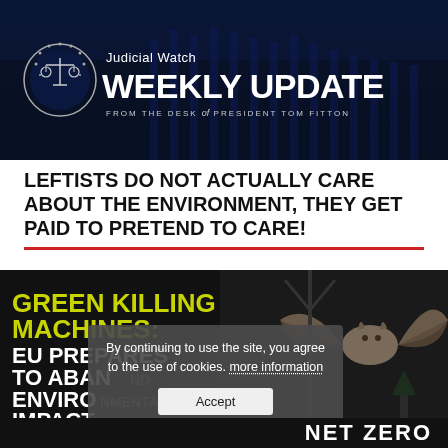[Figure (logo): Judicial Watch Weekly Update banner with circular seal logo and 'WEEKLY UPDATE FROM THE DESK of PRESIDENT TOM FITTON' text on dark blue Capitol building background]
LEFTISTS DO NOT ACTUALLY CARE ABOUT THE ENVIRONMENT, THEY GET PAID TO PRETEND TO CARE!
[Figure (infographic): Green Killing Machines: EU Prepares to Abandon Environmental Impact Assessments for Renewable [energy] — dark image with yellow/white bold text and a bat flying near a wind turbine]
By continuing to use the site, you agree to the use of cookies. more information
Accept
NET ZERO